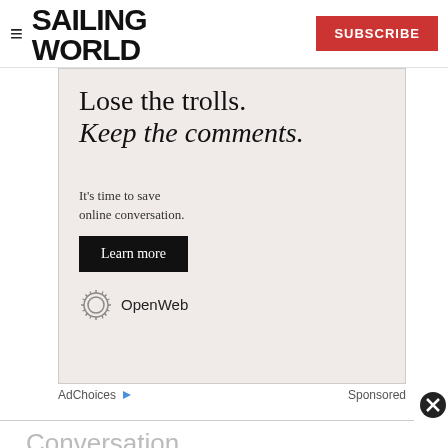SAILING WORLD
[Figure (screenshot): OpenWeb advertisement with text 'Lose the trolls. Keep the comments.' and 'It's time to save online conversation.' with a 'Learn more' button and OpenWeb logo]
AdChoices   Sponsored
Conversation